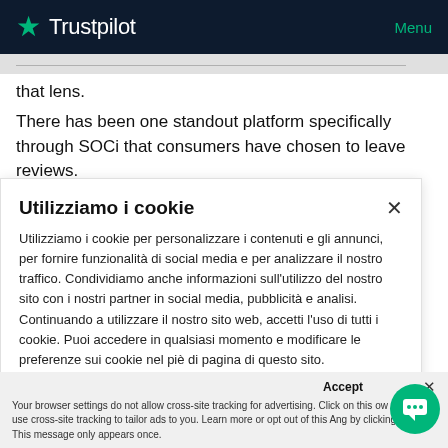Trustpilot  Menu
that lens.
There has been one standout platform specifically through SOCi that consumers have chosen to leave reviews.
GMB Google My Business — (partially cut off)
Utilizziamo i cookie
Utilizziamo i cookie per personalizzare i contenuti e gli annunci, per fornire funzionalità di social media e per analizzare il nostro traffico. Condividiamo anche informazioni sull'utilizzo del nostro sito con i nostri partner in social media, pubblicità e analisi. Continuando a utilizzare il nostro sito web, accetti l'uso di tutti i cookie. Puoi accedere in qualsiasi momento e modificare le preferenze sui cookie nel piè di pagina di questo sito.
Accept  ×
Your browser settings do not allow cross-site tracking for advertising. Click on this to allow AdRoll to use cross-site tracking to tailor ads to you. Learn more or opt out of this AdRolling by clicking here. This message only appears once.